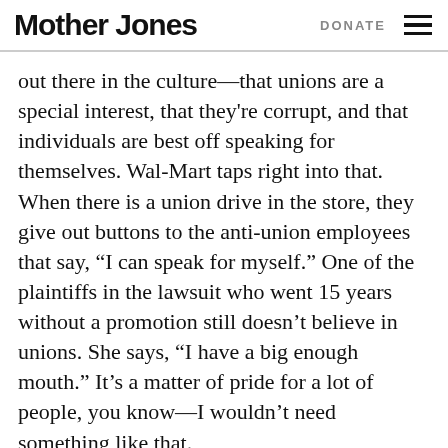Mother Jones | DONATE
out there in the culture—that unions are a special interest, that they're corrupt, and that individuals are best off speaking for themselves. Wal-Mart taps right into that. When there is a union drive in the store, they give out buttons to the anti-union employees that say, “I can speak for myself.” One of the plaintiffs in the lawsuit who went 15 years without a promotion still doesn’t believe in unions. She says, “I have a big enough mouth.” It’s a matter of pride for a lot of people, you know—I wouldn’t need something like that.
The unions have to figure out how to make the point that between you as an individual and Wal-